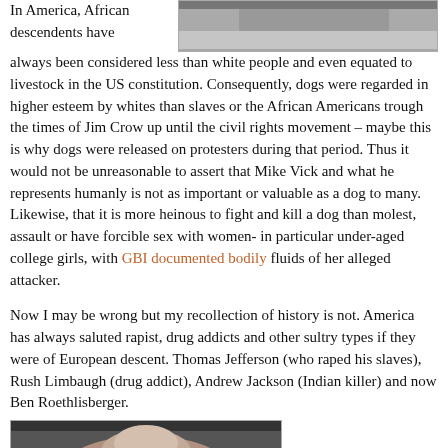In America, African descendents have always been considered less than white people and even equated to livestock in the US constitution. Consequently, dogs were regarded in higher esteem by whites than slaves or the African Americans trough the times of Jim Crow up until the civil rights movement – maybe this is why dogs were released on protesters during that period. Thus it would not be unreasonable to assert that Mike Vick and what he represents humanly is not as important or valuable as a dog to many. Likewise, that it is more heinous to fight and kill a dog than molest, assault or have forcible sex with women- in particular under-aged college girls, with GBI documented bodily fluids of her alleged attacker.
[Figure (photo): Partial black and white outdoor photograph at top right]
Now I may be wrong but my recollection of history is not. America has always saluted rapist, drug addicts and other sultry types if they were of European descent. Thomas Jefferson (who raped his slaves), Rush Limbaugh (drug addict), Andrew Jackson (Indian killer) and now Ben Roethlisberger.
[Figure (photo): Photo of a person at bottom left]
I guess it is easier for